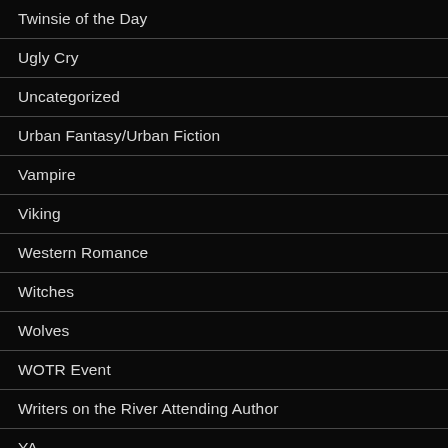Twinsie of the Day
Ugly Cry
Uncategorized
Urban Fantasy/Urban Fiction
Vampire
Viking
Western Romance
Witches
Wolves
WOTR Event
Writers on the River Attending Author
YA